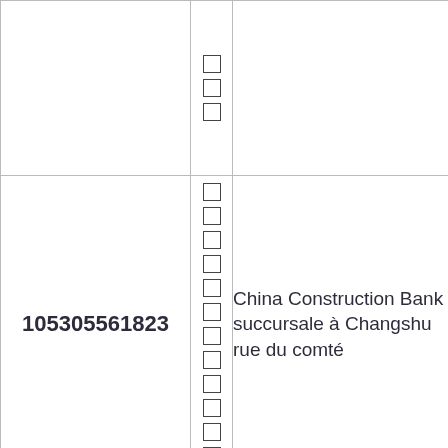|  | ☐☐☐ |  |
| 105305561823 | ☐☐☐☐☐☐☐☐☐☐☐☐ | China Construction Bank succursale à Changshu rue du comté |